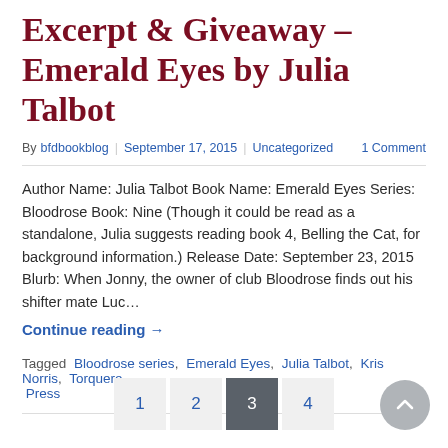Excerpt & Giveaway – Emerald Eyes by Julia Talbot
By bfdbookblog | September 17, 2015 | Uncategorized   1 Comment
Author Name: Julia Talbot Book Name: Emerald Eyes Series: Bloodrose Book: Nine (Though it could be read as a standalone, Julia suggests reading book 4, Belling the Cat, for background information.) Release Date: September 23, 2015 Blurb: When Jonny, the owner of club Bloodrose finds out his shifter mate Luc...
Continue reading →
Tagged Bloodrose series, Emerald Eyes, Julia Talbot, Kris Norris, Torquere Press
1  2  3  4